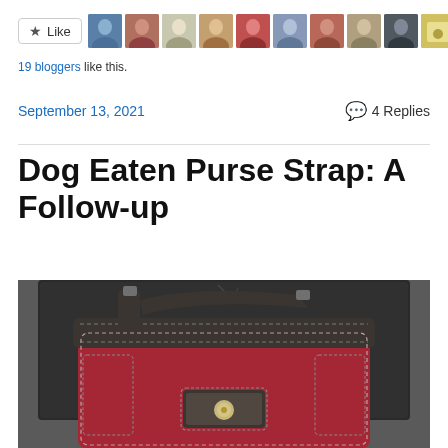[Figure (other): Like button with star icon and row of 11 blogger avatar thumbnails. Text below reads '19 bloggers like this.']
19 bloggers like this.
September 13, 2021    ● 4 Replies
Dog Eaten Purse Strap: A Follow-up
[Figure (photo): A red Coach purse with dark brown/grey leather trim photographed against a dark grey/black surface. The purse has a short single strap attached at the top and a turn-lock clasp in the center front.]